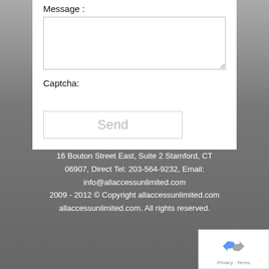Message :
[Figure (screenshot): Empty textarea input field for message]
Captcha:
[Figure (screenshot): Send button (greyed out/placeholder style)]
16 Bouton Street East, Suite 2 Stamford, CT 06907, Direct Tel: 203-564-9232, Email: info@allaccessunlimited.com
2009 - 2012 © Copyright allaccessunlimited.com. All rights reserved.
[Figure (logo): reCAPTCHA widget with recycling arrow logo and Privacy - Terms text]